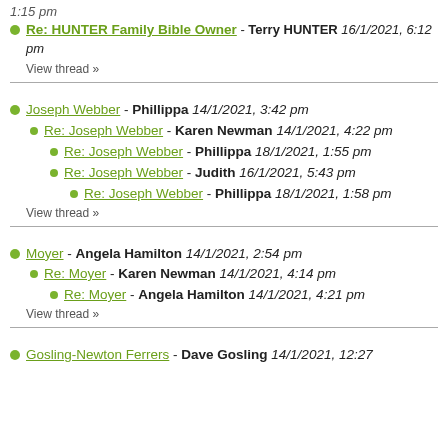1:15 pm
Re: HUNTER Family Bible Owner - Terry HUNTER 16/1/2021, 6:12 pm
View thread »
Joseph Webber - Phillippa 14/1/2021, 3:42 pm
Re: Joseph Webber - Karen Newman 14/1/2021, 4:22 pm
Re: Joseph Webber - Phillippa 18/1/2021, 1:55 pm
Re: Joseph Webber - Judith 16/1/2021, 5:43 pm
Re: Joseph Webber - Phillippa 18/1/2021, 1:58 pm
View thread »
Moyer - Angela Hamilton 14/1/2021, 2:54 pm
Re: Moyer - Karen Newman 14/1/2021, 4:14 pm
Re: Moyer - Angela Hamilton 14/1/2021, 4:21 pm
View thread »
Gosling-Newton Ferrers - Dave Gosling 14/1/2021, 12:27